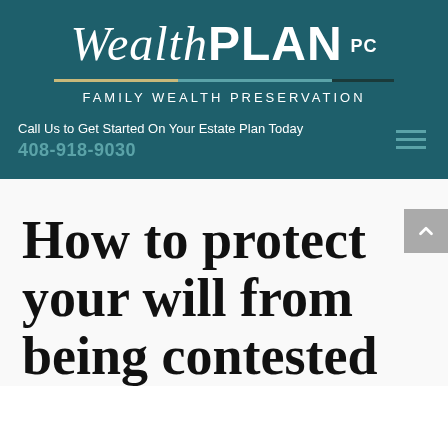[Figure (logo): WealthPLAN PC logo with italic 'Wealth' and bold 'PLAN', decorative tri-color divider line, tagline 'FAMILY WEALTH PRESERVATION']
Call Us to Get Started On Your Estate Plan Today
408-918-9030
How to protect your will from being contested